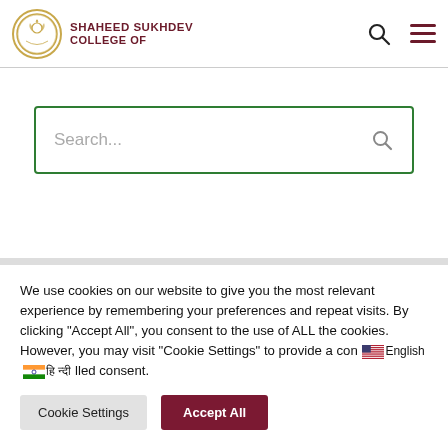SHAHEED SUKHDEV COLLEGE OF
[Figure (other): Search box with green border and search icon]
We use cookies on our website to give you the most relevant experience by remembering your preferences and repeat visits. By clicking "Accept All", you consent to the use of ALL the cookies. However, you may visit "Cookie Settings" to provide a controlled consent.
Cookie Settings | Accept All